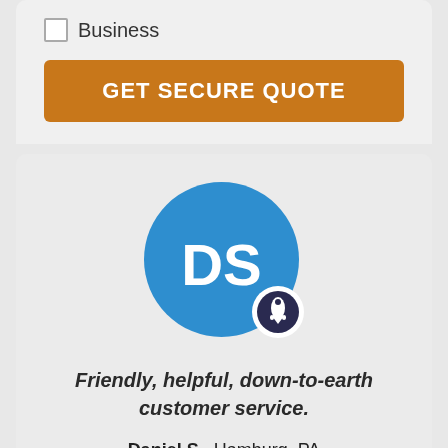Business
GET SECURE QUOTE
[Figure (illustration): Blue circular avatar with white initials DS, with a small white badge showing a rocket/pin icon at the bottom right]
Friendly, helpful, down-to-earth customer service.
Daniel S., Hamburg, PA